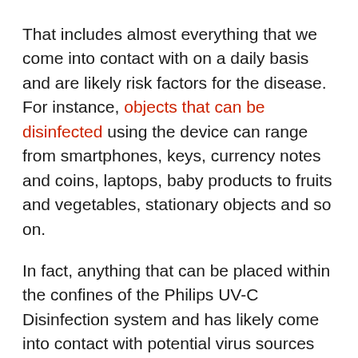That includes almost everything that we come into contact with on a daily basis and are likely risk factors for the disease. For instance, objects that can be disinfected using the device can range from smartphones, keys, currency notes and coins, laptops, baby products to fruits and vegetables, stationary objects and so on.
In fact, anything that can be placed within the confines of the Philips UV-C Disinfection system and has likely come into contact with potential virus sources can be sanitised with the device. The company said it takes anywhere between 2 mins and 8 mins for a thorough disinfection process to complete.
The device comes in three size options, with the smallest being of 10 litre capacity and is priced Rs. 7,990. Next up is